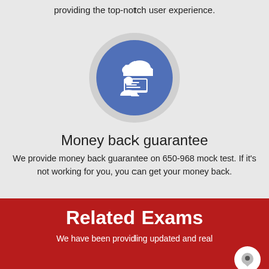providing the top-notch user experience.
[Figure (illustration): Circular icon with blue background showing a person sitting at a computer monitor with a cloud containing heart, location pin, and thumbs up icons above]
Money back guarantee
We provide money back guarantee on 650-968 mock test. If it's not working for you, you can get your money back.
Related Exams
We have been providing updated and real